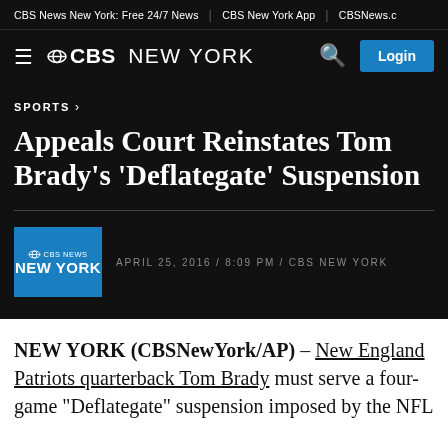CBS News New York: Free 24/7 News | CBS New York App | CBSNews.c
≡ ©CBS NEW YORK  🔍  Login
SPORTS ›
Appeals Court Reinstates Tom Brady's 'Deflategate' Suspension
APRIL 25, 2016 / 8:09 PM / CBS NEW YORK
NEW YORK (CBSNewYork/AP) – New England Patriots quarterback Tom Brady must serve a four-game "Deflategate" suspension imposed by the NFL